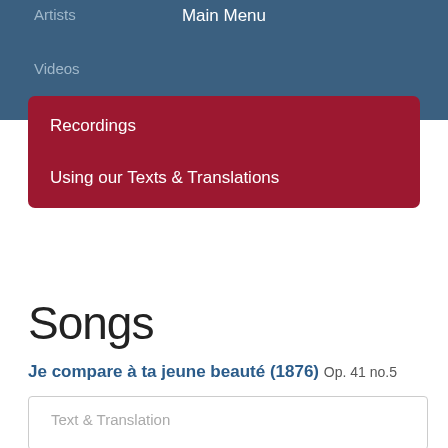Artists   Main Menu   Videos
Recordings
Using our Texts & Translations
Songs
Je compare à ta jeune beauté (1876) Op. 41 no.5
Text & Translation
Composer
Poet
Performances